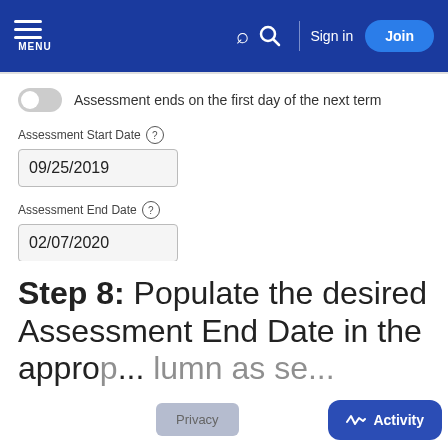MENU | Search | Sign in | Join
Assessment ends on the first day of the next term
Assessment Start Date
09/25/2019
Assessment End Date
02/07/2020
CANCEL  SAVE
Step 8: Populate the desired Assessment End Date in the approp... lumn as se...